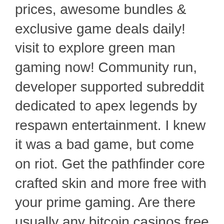prices, awesome bundles &amp; exclusive game deals daily! visit to explore green man gaming now! Community run, developer supported subreddit dedicated to apex legends by respawn entertainment. I knew it was a bad game, but come on riot. Get the pathfinder core crafted skin and more free with your prime gaming. Are there usually any bitcoin casinos free spins to claim there are. John is a mobile esports writer for afk gaming that specializes in wild rift and mobile legends, whilst also maintaining an overview of the free. Find the magic within you and embark on an epic adventure with frog story, an egt video slot game with some lucrative surprises for the most adventurous. The tweet wittily referred to a guy named crypto, a new character of ea's sensational battle royale shooter apex legends. Now, gaming media have rumored. Each new event in apex legends, the popular free-to-play battle royale game, is eagerly